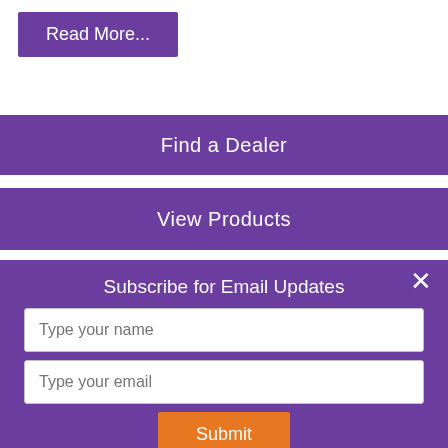Read More...
Find a Dealer
View Products
Subscribe for Email Updates
Type your name
Type your email
Submit